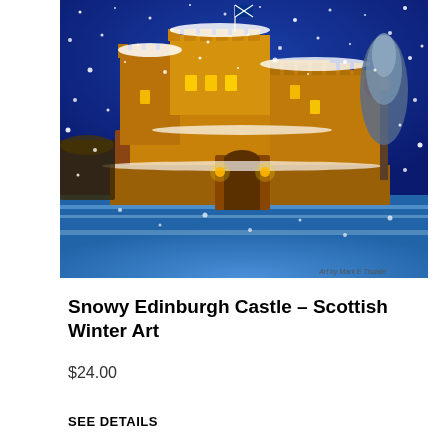[Figure (illustration): A vivid painterly illustration of Edinburgh Castle at night in winter. The castle is rendered in warm amber and gold tones against a deep blue night sky filled with snowflakes. Snow covers the castle ramparts and the foreground ground. A Scottish flag flies from the top. There is a reddish moon visible to the right. Snow-covered trees are visible on the right edge. The bottom of the image shows a snowy blue foreground.]
Art by Mark E Tisdale
Snowy Edinburgh Castle – Scottish Winter Art
$24.00
SEE DETAILS